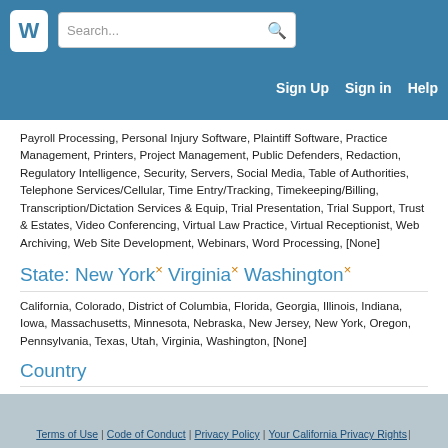Search... Sign Up Sign in Help
Payroll Processing, Personal Injury Software, Plaintiff Software, Practice Management, Printers, Project Management, Public Defenders, Redaction, Regulatory Intelligence, Security, Servers, Social Media, Table of Authorities, Telephone Services/Cellular, Time Entry/Tracking, Timekeeping/Billing, Transcription/Dictation Services & Equip, Trial Presentation, Trial Support, Trust & Estates, Video Conferencing, Virtual Law Practice, Virtual Receptionist, Web Archiving, Web Site Development, Webinars, Word Processing, [None]
State: New York× Virginia× Washington×
California, Colorado, District of Columbia, Florida, Georgia, Illinois, Indiana, Iowa, Massachusetts, Minnesota, Nebraska, New Jersey, New York, Oregon, Pennsylvania, Texas, Utah, Virginia, Washington, [None]
Country
Canada, United States, [None]
Terms of Use | Code of Conduct | Privacy Policy | Your California Privacy Rights |